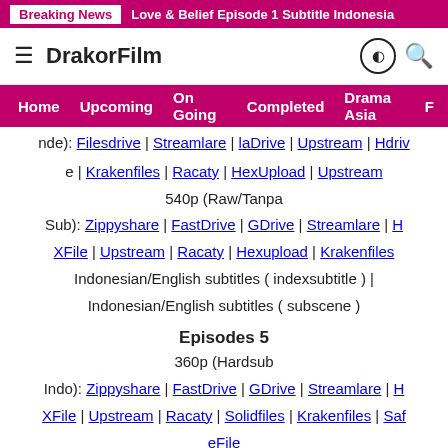Breaking News: Love & Belief Episode 1 Subtitle Indonesia
DrakorFilm
Home | Upcoming | On Going | Completed | Drama Asia | F…
e | Krakenfiles | Racaty | HexUpload | Upstream
540p (Raw/Tanpa Sub): Zippyshare | FastDrive | GDrive | Streamlare | HXFile | Upstream | Racaty | Hexupload | Krakenfiles
Indonesian/English subtitles ( indexsubtitle ) | Indonesian/English subtitles ( subscene )
Episodes 5
360p (Hardsub Indo): Zippyshare | FastDrive | GDrive | Streamlare | HXFile | Upstream | Racaty | Solidfiles | Krakenfiles | SafeFile
480p (Hardsub Indo):